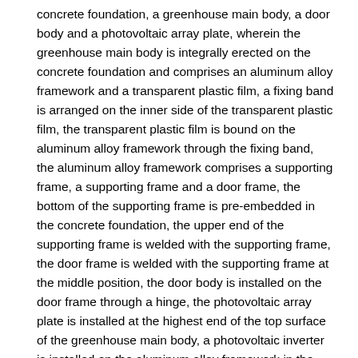concrete foundation, a greenhouse main body, a door body and a photovoltaic array plate, wherein the greenhouse main body is integrally erected on the concrete foundation and comprises an aluminum alloy framework and a transparent plastic film, a fixing band is arranged on the inner side of the transparent plastic film, the transparent plastic film is bound on the aluminum alloy framework through the fixing band, the aluminum alloy framework comprises a supporting frame, a supporting frame and a door frame, the bottom of the supporting frame is pre-embedded in the concrete foundation, the upper end of the supporting frame is welded with the supporting frame, the door frame is welded with the supporting frame at the middle position, the door body is installed on the door frame through a hinge, the photovoltaic array plate is installed at the highest end of the top surface of the greenhouse main body, a photovoltaic inverter is installed on the aluminum alloy framework in the greenhouse main body, and a light supplement lamp is installed on the aluminum alloy framework at the top of, install the camera under photovoltaic inverter on the aluminium alloy skeleton of below, install illumination sensor under the camera on